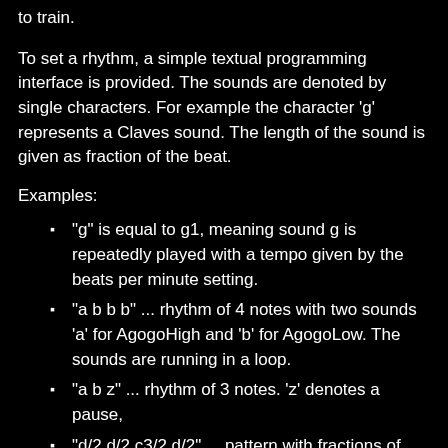to train.
To set a rhythm, a simple textual programming interface is provided. The sounds are denoted by single characters. For example the character 'g' represents a Claves sound. The length of the sound is given as fraction of the beat.
Examples:
"g" is equal to g1, meaning sound g is repeatedly played with a tempo given by the beats per minute setting.
"a b b b" ... rhythm of 4 notes with two sounds 'a' for AgogoHigh and 'b' for AgogoLow. The sounds are running in a loop.
"a b z" ... rhythm of 3 notes. 'z' denotes a pause,
"d/2 d/2 c3/2 d/2" ... pattern with fractions of beats; first two notes have a half beat duration; then a note with one and a half beat duration follows; then a note with a half beat duration again.